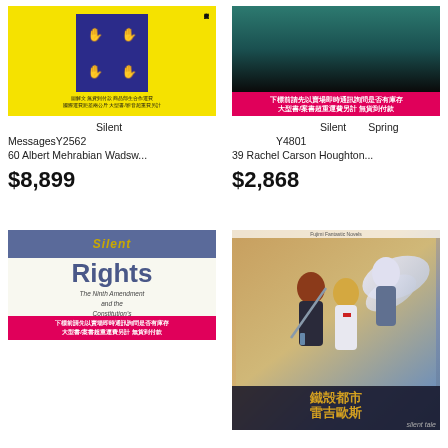[Figure (illustration): Book cover for Silent Messages by Albert Mehrabian - yellow cover with blue panel showing hand signs]
沉默的訊息SilentㅁMessagesY256260 Albert Mehrabian Wadsw...
$8,899
露天拍賣
[Figure (illustration): Book cover for Silent Spring by Rachel Carson - dark teal/black cover with pink banner]
寂靜的春天SilentㅁSpring ㅁㅁㅁㅁY480139 Rachel Carson Houghton...
$2,868
露天拍賣
[Figure (illustration): Book cover showing 'Silent Rights - The Ninth Amendment and the Constitution's' with blue/gold typography on cream background, pink banner at bottom]
[Figure (illustration): Anime/manga style book cover featuring characters with swords - 機殻都市雷吉歐斯 (Chrome Shelled Regios) with 'silent tale' subtitle]